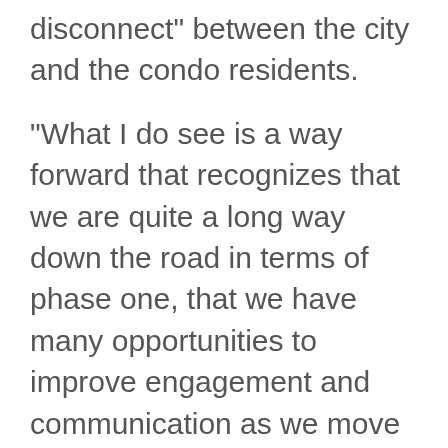disconnect" between the city and the condo residents.
"What I do see is a way forward that recognizes that we are quite a long way down the road in terms of phase one, that we have many opportunities to improve engagement and communication as we move forward through phases two and beyond," Gough said.
Ward 5 Coun. Randy Donauer said he felt denying the street closure solely to pause the project would be counterproductive, instead proposing that administration could mull moving the washrooms.
Get the CTV News app for Saskatoon area breaking news alerts and top